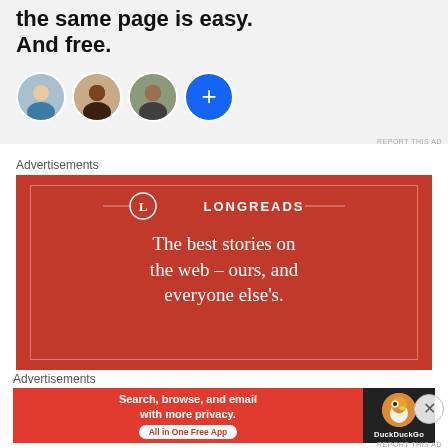[Figure (screenshot): Top advertisement with bold text 'the same page is easy. And free.' and four circular avatar images, the last being a blue circle with a plus sign.]
REPORT THIS AD
Advertisements
[Figure (screenshot): Longreads advertisement on red background. Logo with 'L' in circle and 'LONGREADS' text. Tagline: 'The best stories on the web – ours, and everyone else's.']
Advertisements
[Figure (screenshot): DuckDuckGo advertisement. Left side red: 'Search, browse, and email with more privacy. All in One Free App'. Right side dark with DuckDuckGo logo and name.]
REPORT THIS AD